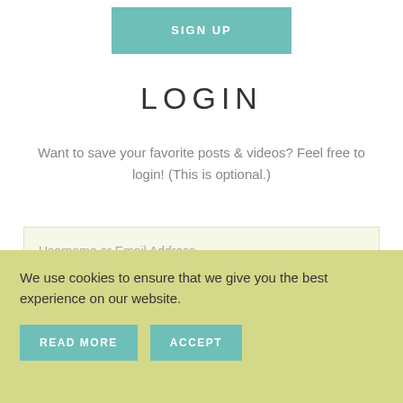[Figure (screenshot): Teal/green SIGN UP button at top of page]
LOGIN
Want to save your favorite posts & videos? Feel free to login! (This is optional.)
Username or Email Address
Password
Remember Me
We use cookies to ensure that we give you the best experience on our website.
READ MORE
ACCEPT